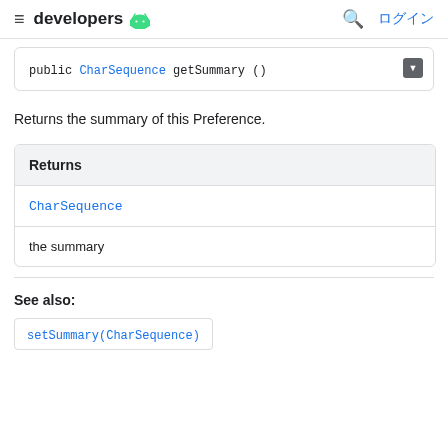developers ログイン
public CharSequence getSummary ()
Returns the summary of this Preference.
| Returns |
| --- |
| CharSequence |
| the summary |
See also:
setSummary(CharSequence)